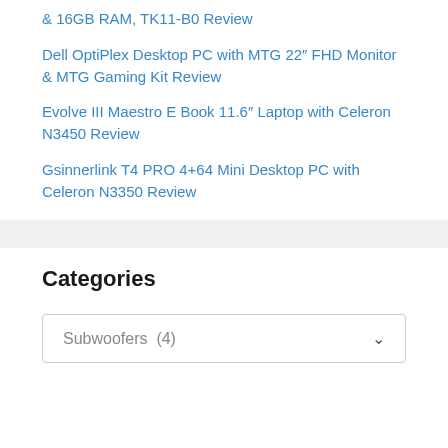& 16GB RAM, TK11-B0 Review
Dell OptiPlex Desktop PC with MTG 22″ FHD Monitor & MTG Gaming Kit Review
Evolve III Maestro E Book 11.6″ Laptop with Celeron N3450 Review
Gsinnerlink T4 PRO 4+64 Mini Desktop PC with Celeron N3350 Review
Categories
Subwoofers  (4)